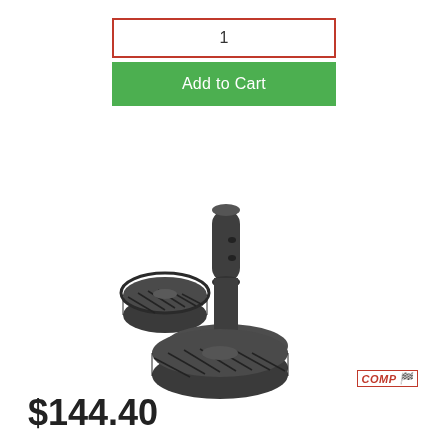1
Add to Cart
[Figure (photo): Three dark gray metallic helical distributor gears and a distributor shaft/collar component, arranged together on a white background. COMP Cams brand product.]
COMP
$144.40